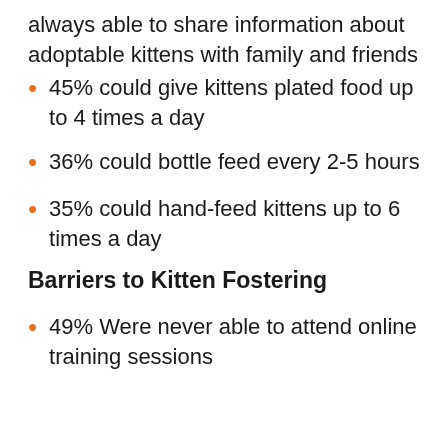always able to share information about adoptable kittens with family and friends
45% could give kittens plated food up to 4 times a day
36% could bottle feed every 2-5 hours
35% could hand-feed kittens up to 6 times a day
Barriers to Kitten Fostering
49% Were never able to attend online training sessions